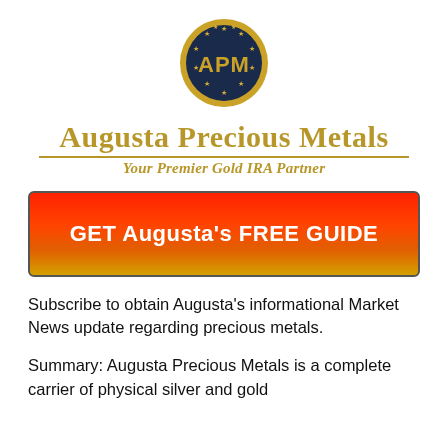[Figure (logo): APM circular logo — dark navy circle with gold stars around the border and 'APM' text in the center in gold]
Augusta Precious Metals
Your Premier Gold IRA Partner
[Figure (infographic): Red to gold gradient CTA button with bold white text: GET Augusta's FREE GUIDE]
Subscribe to obtain Augusta's informational Market News update regarding precious metals.
Summary: Augusta Precious Metals is a complete carrier of physical silver and gold